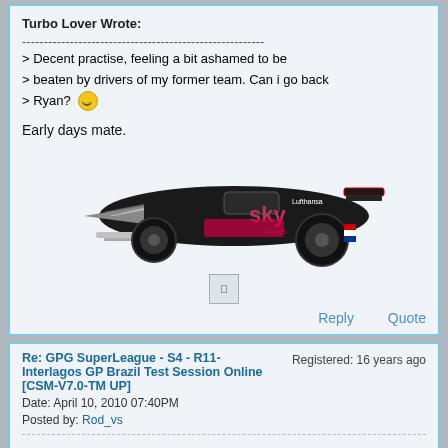Turbo Lover Wrote:
--------------------------------------------------------
> Decent practise, feeling a bit ashamed to be
> beaten by drivers of my former team. Can i go back
> Ryan? [smiley]
Early days mate.
[Figure (photo): Side view of a black Formula 1 race car with Sky and Lufthansa sponsorship livery in red/pink lettering]
Reply   Quote
Re: GPG SuperLeague - S4 - R11-Interlagos GP Brazil Test Session Online [CSM-V7.0-TM UP]
Registered: 16 years ago
Date: April 10, 2010 07:40PM
Posted by: Rod_vs
4th place... I'm sad... =/ I want to be first on my home GP, but... congratulations, John, Florian, Davies... [smiley]
[Figure (screenshot): Partial image strip at bottom showing racing game or championship screen]